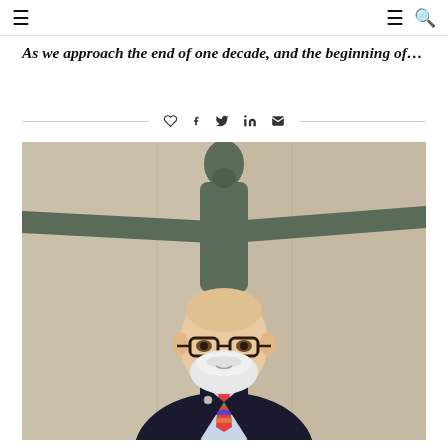≡   ≡ 🔍
As we approach the end of one decade, and the beginning of…
[Figure (other): Social sharing icons: heart, Facebook, Twitter, LinkedIn, email]
[Figure (photo): Photograph of an elderly bald man with glasses and a white beard wearing a dark suit and colorful tie, standing in front of a large bronze Greek-style statue with outstretched arms, in a marble-walled interior]